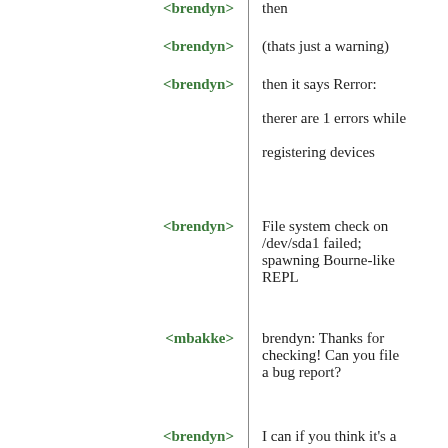<brendyn> then
<brendyn> (thats just a warning)
<brendyn> then it says Rerror: therer are 1 errors while registering devices
<brendyn> File system check on /dev/sda1 failed; spawning Bourne-like REPL
<mbakke> brendyn: Thanks for checking! Can you file a bug report?
<brendyn> I can if you think it's a bug rather than some error I have made